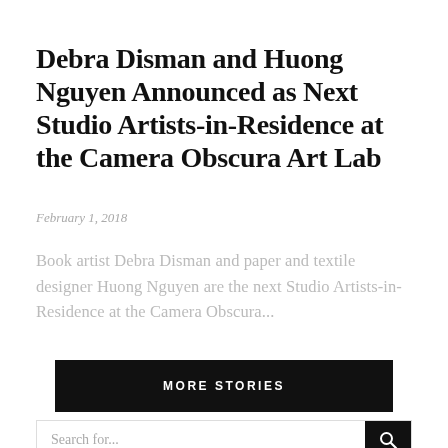Debra Disman and Huong Nguyen Announced as Next Studio Artists-in-Residence at the Camera Obscura Art Lab
February 1, 2018
Book artist Debra Disman and paper and textile designer Huong Nguyen are the next Studio Artists-in-Residence at the Camera Obscura...
MORE STORIES
Search for...